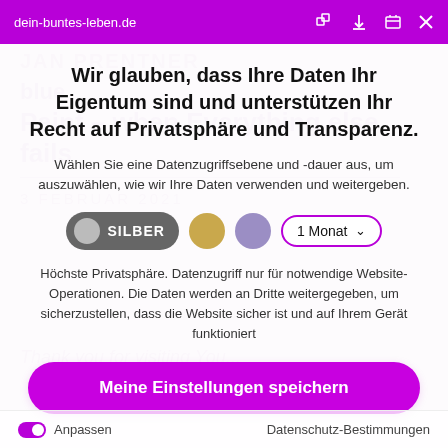dein-buntes-leben.de
Wir glauben, dass Ihre Daten Ihr Eigentum sind und unterstützen Ihr Recht auf Privatsphäre und Transparenz.
Wählen Sie eine Datenzugriffsebene und -dauer aus, um auszuwählen, wie wir Ihre Daten verwenden und weitergeben.
[Figure (infographic): Privacy tier selector with SILBER toggle button (gray), gold circle, purple/lavender circle, and a '1 Monat' dropdown with purple border]
Höchste Privatsphäre. Datenzugriff nur für notwendige Website-Operationen. Die Daten werden an Dritte weitergegeben, um sicherzustellen, dass die Website sicher ist und auf Ihrem Gerät funktioniert
Meine Einstellungen speichern
Anpassen    Datenschutz-Bestimmungen